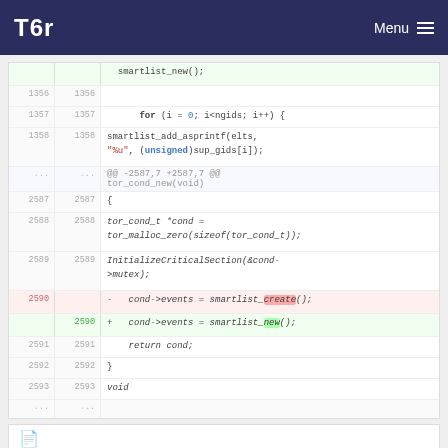Tor  Menu
[Figure (screenshot): Code diff view showing changes in a C source file. Lines 1356-1358 show a for loop using smartlist_add_asprintf. Lines around 2587-2593 show a function tor_cond_new with a changed line: cond->events = smartlist_create() replaced by cond->events = smartlist_new(). Deleted line 2590 in red, added line 2590 in green.]
Related section heading (partial, cut off)